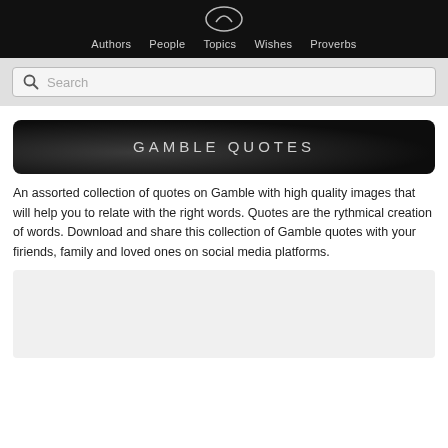Authors  People  Topics  Wishes  Proverbs
Search
GAMBLE QUOTES
An assorted collection of quotes on Gamble with high quality images that will help you to relate with the right words. Quotes are the rythmical creation of words. Download and share this collection of Gamble quotes with your firiends, family and loved ones on social media platforms.
[Figure (other): Light grey advertisement or content placeholder box]